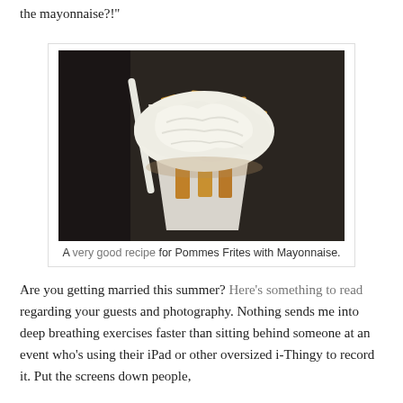the mayonnaise?!"
[Figure (photo): A cone of Belgian-style pommes frites (thick-cut french fries) in a white paper cone, heavily covered with white mayonnaise sauce, placed on a wooden surface.]
A very good recipe for Pommes Frites with Mayonnaise.
Are you getting married this summer? Here's something to read regarding your guests and photography. Nothing sends me into deep breathing exercises faster than sitting behind someone at an event who's using their iPad or other oversized i-Thingy to record it. Put the screens down people,